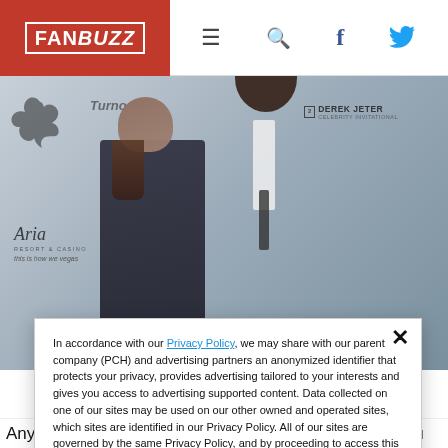FAN BUZZ
[Figure (photo): Michael Jordan and a woman posing at an event backdrop with Jordan Brand, Aria Hotel & Casino, and Derek Jeter Celebrity Invitational sponsor logos]
In accordance with our Privacy Policy, we may share with our parent company (PCH) and advertising partners an anonymized identifier that protects your privacy, provides advertising tailored to your interests and gives you access to advertising supported content. Data collected on one of our sites may be used on our other owned and operated sites, which sites are identified in our Privacy Policy. All of our sites are governed by the same Privacy Policy, and by proceeding to access this site, you are consenting to that Privacy Policy.
Anyway you slice it, Michael Jordan is the greatest. You